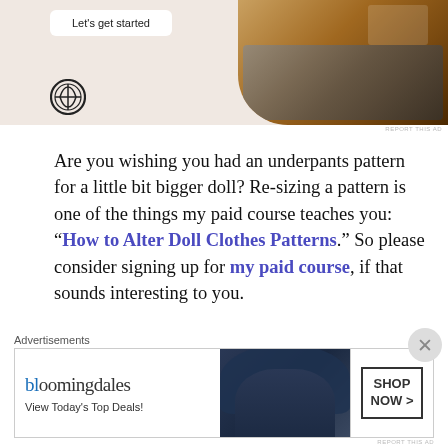[Figure (screenshot): WordPress advertisement banner showing 'Let's get started' button and a person using a laptop, with WordPress logo]
Are you wishing you had an underpants pattern for a little bit bigger doll? Re-sizing a pattern is one of the things my paid course teaches you: “How to Alter Doll Clothes Patterns.” So please consider signing up for my paid course, if that sounds interesting to you.
Here, for example, is a photo of my vintage Velvet
[Figure (screenshot): Bloomingdale's advertisement banner showing logo, 'View Today's Top Deals!' text, woman with large hat, and 'SHOP NOW >' button]